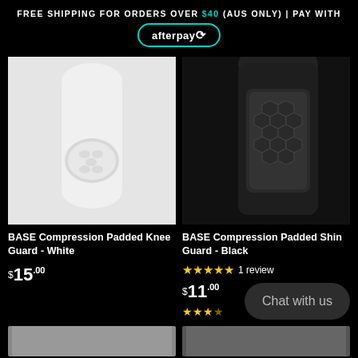FREE SHIPPING FOR ORDERS OVER $40 (AUS ONLY) | PAY WITH afterpay
[Figure (photo): White compression padded knee guard worn on a leg with white/light grey background]
[Figure (photo): Black compression padded shin guard worn on a leg with black background]
BASE Compression Padded Knee Guard - White
BASE Compression Padded Shin Guard - Black
$15.00
★★★★★ 1 review
$11.00
★★★☆
Chat with us